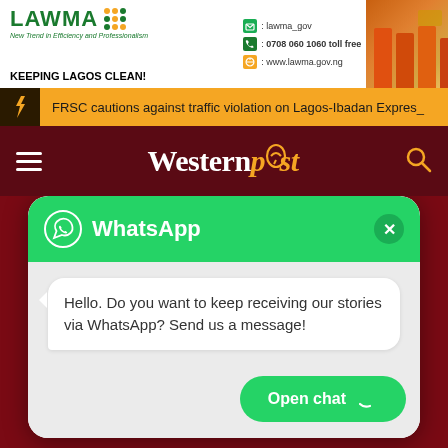[Figure (photo): LAWMA advertisement banner with logo, contact info, tagline 'KEEPING LAGOS CLEAN!', and photo of workers in orange uniforms]
FRSC cautions against traffic violation on Lagos-Ibadan Expres_
Westernpost
[Figure (photo): Article image showing people in a room, partially visible behind WhatsApp popup]
[Figure (screenshot): WhatsApp chat widget popup with header showing WhatsApp logo and title, message bubble saying 'Hello. Do you want to keep receiving our stories via WhatsApp? Send us a message!', and an 'Open chat' button]
Hello. Do you want to keep receiving our stories via WhatsApp? Send us a message!